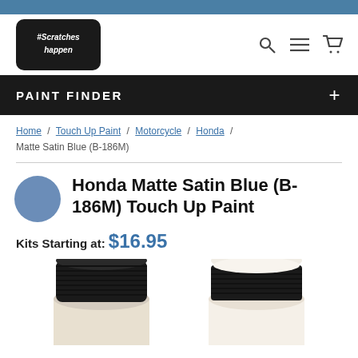PAINT FINDER
[Figure (logo): #Scratches Happen logo with stylized handwritten text on black badge shape]
Home / Touch Up Paint / Motorcycle / Honda / Matte Satin Blue (B-186M)
Honda Matte Satin Blue (B-186M) Touch Up Paint
Kits Starting at: $16.95
[Figure (photo): Two paint bottle tops/caps visible from above — one with black cap on left, one with white cap on right, on white/cream bottle body]